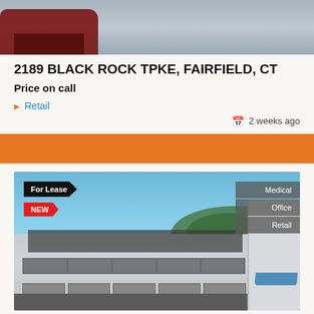[Figure (photo): Top partial view of a parking lot with a red car visible at the bottom left, gray asphalt road surface]
2189 BLACK ROCK TPKE, FAIRFIELD, CT
Price on call
Retail
2 weeks ago
[Figure (photo): Commercial building for lease - a white multi-story mixed-use building with retail/office/medical space available. Tags show: For Lease, NEW, Medical, Office, Retail]